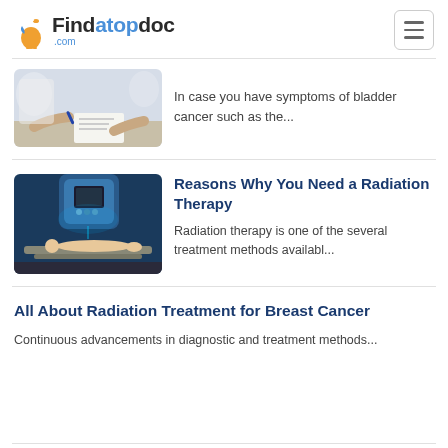Findatopdoc.com
[Figure (photo): Person writing at a desk, doctor or patient consultation scene]
In case you have symptoms of bladder cancer such as the...
[Figure (photo): Patient lying on radiation therapy machine table with large medical equipment]
Reasons Why You Need a Radiation Therapy
Radiation therapy is one of the several treatment methods availabl...
All About Radiation Treatment for Breast Cancer
Continuous advancements in diagnostic and treatment methods...